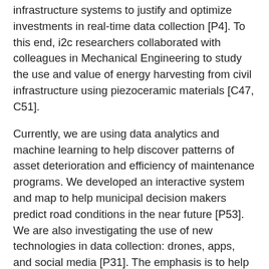infrastructure systems to justify and optimize investments in real-time data collection [P4]. To this end, i2c researchers collaborated with colleagues in Mechanical Engineering to study the use and value of energy harvesting from civil infrastructure using piezoceramic materials [C47, C51].
Currently, we are using data analytics and machine learning to help discover patterns of asset deterioration and efficiency of maintenance programs. We developed an interactive system and map to help municipal decision makers predict road conditions in the near future [P53]. We are also investigating the use of new technologies in data collection: drones, apps, and social media [P31]. The emphasis is to help municipalities (especially smaller ones) assess the gaps and investments needs and coordinate decision making [B5]. We are also using data analytics for studying means to scope (bundle) projects in a manner to optimize costs, but at the same time, enhance the competitiveness of local small and